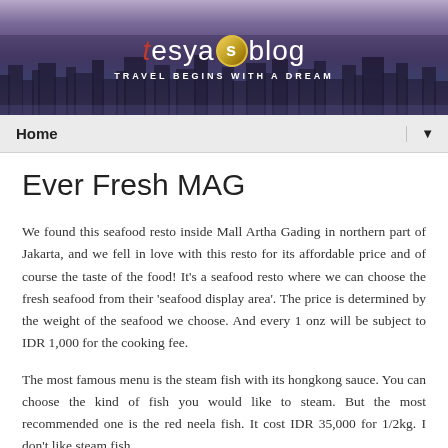[Figure (illustration): Travel blog header banner with cityscape skyline at dusk/night with purple-blue tones. Blog title 'tesyasblog' with stylized letters and tagline 'TRAVEL BEGINS WITH A DREAM']
Home ▼
Ever Fresh MAG
We found this seafood resto inside Mall Artha Gading in northern part of Jakarta, and we fell in love with this resto for its affordable price and of course the taste of the food! It's a seafood resto where we can choose the fresh seafood from their 'seafood display area'. The price is determined by the weight of the seafood we choose. And every 1 onz will be subject to IDR 1,000 for the cooking fee.
The most famous menu is the steam fish with its hongkong sauce. You can choose the kind of fish you would like to steam. But the most recommended one is the red neela fish. It cost IDR 35,000 for 1/2kg. I don't like steam fish,